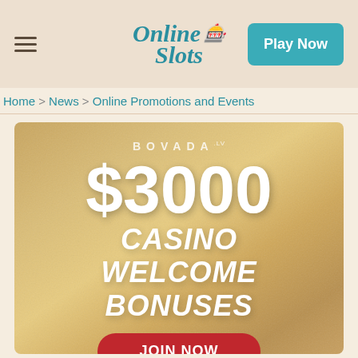Online Slots — Play Now
Home > News > Online Promotions and Events
[Figure (illustration): Bovada casino promotional banner showing '$3000 CASINO WELCOME BONUSES' text on a golden textured background with a 'JOIN NOW' red button]